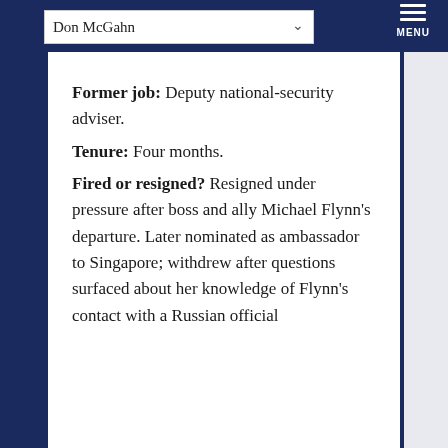Don McGahn | MENU
Former job: Deputy national-security adviser. Tenure: Four months. Fired or resigned? Resigned under pressure after boss and ally Michael Flynn's departure. Later nominated as ambassador to Singapore; withdrew after questions surfaced about her knowledge of Flynn's contact with a Russian official